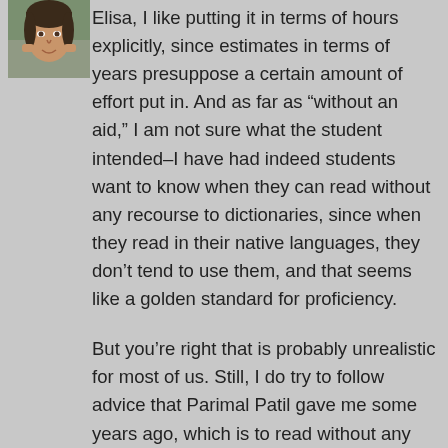[Figure (photo): Small avatar/profile photo of a person, appears to be a woman with dark hair, in the upper left corner]
Elisa, I like putting it in terms of hours explicitly, since estimates in terms of years presuppose a certain amount of effort put in. And as far as “without an aid,” I am not sure what the student intended–I have had indeed students want to know when they can read without any recourse to dictionaries, since when they read in their native languages, they don’t tend to use them, and that seems like a golden standard for proficiency.
But you’re right that is probably unrealistic for most of us. Still, I do try to follow advice that Parimal Patil gave me some years ago, which is to read without any aids as much as possible, and then go back and work out details later. (He and Larry McCrea also